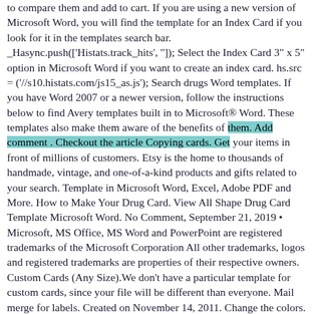to compare them and add to cart. If you are using a new version of Microsoft Word, you will find the template for an Index Card if you look for it in the templates search bar. _Hasync.push(['Histats.track_hits', '']); Select the Index Card 3" x 5" option in Microsoft Word if you want to create an index card. hs.src = ('//s10.histats.com/js15_as.js'); Search drugs Word templates. If you have Word 2007 or a newer version, follow the instructions below to find Avery templates built in to Microsoft® Word. These templates also make them aware of the benefits of them. Add comment . Checkout the article Copying cards. Get your items in front of millions of customers. Etsy is the home to thousands of handmade, vintage, and one-of-a-kind products and gifts related to your search. Template in Microsoft Word, Excel, Adobe PDF and More. How to Make Your Drug Card. View All Shape Drug Card Template Microsoft Word. No Comment, September 21, 2019 • Microsoft, MS Office, MS Word and PowerPoint are registered trademarks of the Microsoft Corporation All other trademarks, logos and registered trademarks are properties of their respective owners. Custom Cards (Any Size).We don't have a particular template for custom cards, since your file will be different than everyone. Mail merge for labels. Created on November 14, 2011. Change the colors. Whether it is for business or personal use, you must tailor it to your specific needs. I used to be in a nursing program again in 2005/2006 however needed to drop out as a result of household points. Méthode.